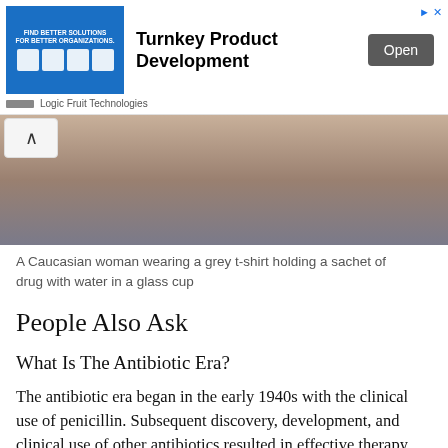[Figure (other): Advertisement banner for Turnkey Product Development by Logic Fruit Technologies with blue image box showing icons and an Open button]
[Figure (photo): A Caucasian woman wearing a grey t-shirt holding a sachet of drug with water in a glass cup]
A Caucasian woman wearing a grey t-shirt holding a sachet of drug with water in a glass cup
People Also Ask
What Is The Antibiotic Era?
The antibiotic era began in the early 1940s with the clinical use of penicillin. Subsequent discovery, development, and clinical use of other antibiotics resulted in effective therapy against major bacterial pathogens.